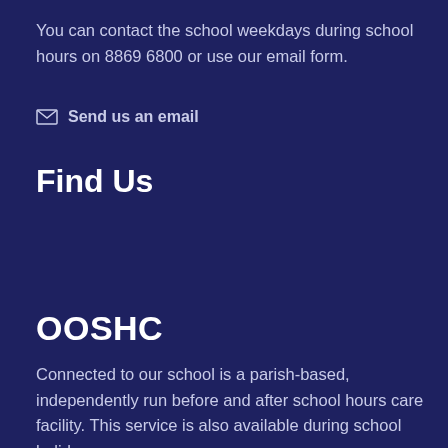You can contact the school weekdays during school hours on 8869 6800 or use our email form.
Send us an email
Find Us
OOSHC
Connected to our school is a parish-based, independently run before and after school hours care facility. This service is also available during school holidays.